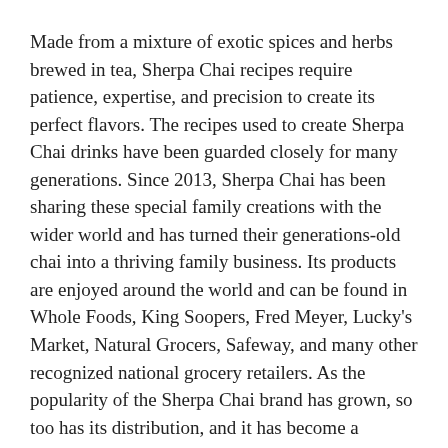Made from a mixture of exotic spices and herbs brewed in tea, Sherpa Chai recipes require patience, expertise, and precision to create its perfect flavors. The recipes used to create Sherpa Chai drinks have been guarded closely for many generations. Since 2013, Sherpa Chai has been sharing these special family creations with the wider world and has turned their generations-old chai into a thriving family business. Its products are enjoyed around the world and can be found in Whole Foods, King Soopers, Fred Meyer, Lucky's Market, Natural Grocers, Safeway, and many other recognized national grocery retailers. As the popularity of the Sherpa Chai brand has grown, so too has its distribution, and it has become a namesake nationally among the best-tasting chai brands in the United States.
# # #
About Sherpa Chai
Sherpa Chai is a U.S.-based specialty chai beverage company founded in Boulder, Colorado, in 2014 by Nepalese